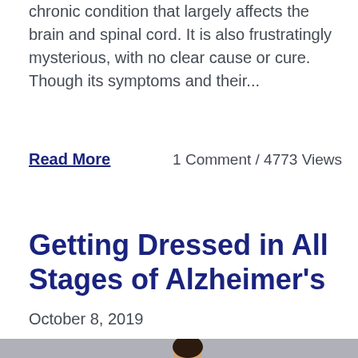chronic condition that largely affects the brain and spinal cord. It is also frustratingly mysterious, with no clear cause or cure. Though its symptoms and their...
Read More    1 Comment / 4773 Views
Getting Dressed in All Stages of Alzheimer's
October 8, 2019
[Figure (photo): Two women, one standing behind the other who is seated; both appear to be smiling in a studio/grey background setting]